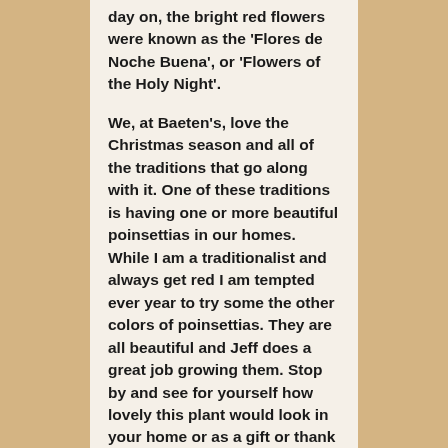day on, the bright red flowers were known as the 'Flores de Noche Buena', or 'Flowers of the Holy Night'. We, at Baeten's, love the Christmas season and all of the traditions that go along with it. One of these traditions is having one or more beautiful poinsettias in our homes. While I am a traditionalist and always get red I am tempted ever year to try some the other colors of poinsettias. They are all beautiful and Jeff does a great job growing them. Stop by and see for yourself how lovely this plant would look in your home or as a gift or thank you for someone in your life. If your church or business needs